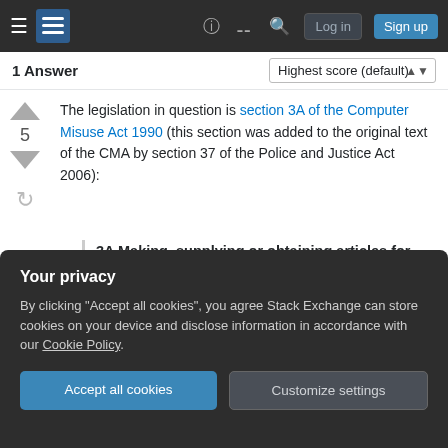Stack Exchange navigation bar with Log in and Sign up buttons
1 Answer · Highest score (default)
The legislation in question is section 3A of the Computer Misuse Act 1990 (this section was added to the original text of the CMA by section 37 of the Police and Justice Act 2006):
3A Making, supplying or obtaining articles for use in offence under section 1 or 3
(2) A person is guilty of an offence if he
Your privacy
By clicking "Accept all cookies", you agree Stack Exchange can store cookies on your device and disclose information in accordance with our Cookie Policy.